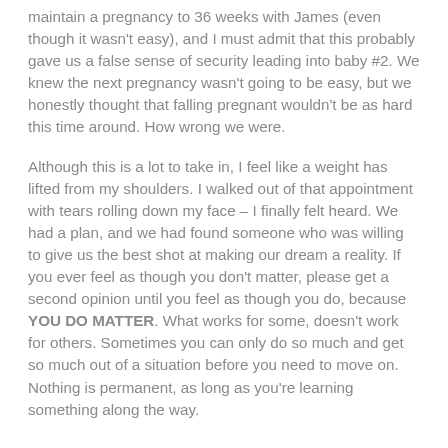maintain a pregnancy to 36 weeks with James (even though it wasn't easy), and I must admit that this probably gave us a false sense of security leading into baby #2. We knew the next pregnancy wasn't going to be easy, but we honestly thought that falling pregnant wouldn't be as hard this time around. How wrong we were.
Although this is a lot to take in, I feel like a weight has lifted from my shoulders. I walked out of that appointment with tears rolling down my face – I finally felt heard. We had a plan, and we had found someone who was willing to give us the best shot at making our dream a reality. If you ever feel as though you don't matter, please get a second opinion until you feel as though you do, because YOU DO MATTER. What works for some, doesn't work for others. Sometimes you can only do so much and get so much out of a situation before you need to move on. Nothing is permanent, as long as you're learning something along the way.